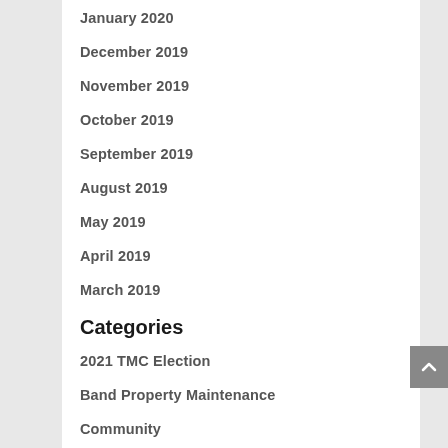January 2020
December 2019
November 2019
October 2019
September 2019
August 2019
May 2019
April 2019
March 2019
Categories
2021 TMC Election
Band Property Maintenance
Community
Community Health